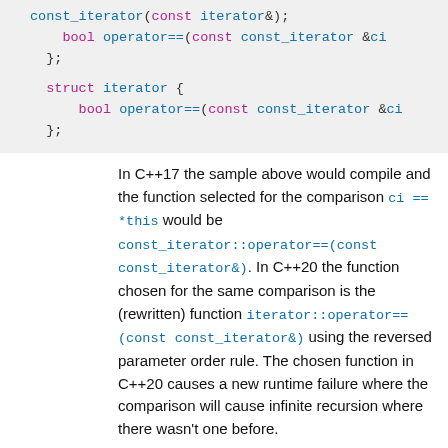[Figure (screenshot): Code block showing C++ struct definitions with const_iterator and iterator, including bool operator== methods]
In C++17 the sample above would compile and the function selected for the comparison ci == *this would be const_iterator::operator==(const const_iterator&). In C++20 the function chosen for the same comparison is the (rewritten) function iterator::operator==(const const_iterator&) using the reversed parameter order rule. The chosen function in C++20 causes a new runtime failure where the comparison will cause infinite recursion where there wasn't one before.
Another example: